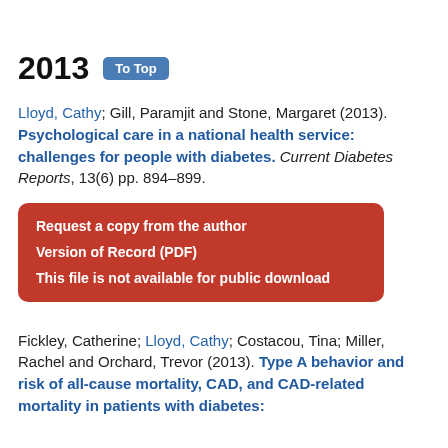2013   To Top
Lloyd, Cathy; Gill, Paramjit and Stone, Margaret (2013). Psychological care in a national health service: challenges for people with diabetes. Current Diabetes Reports, 13(6) pp. 894–899.
Request a copy from the author
Version of Record (PDF)
This file is not available for public download
Fickley, Catherine; Lloyd, Cathy; Costacou, Tina; Miller, Rachel and Orchard, Trevor (2013). Type A behavior and risk of all-cause mortality, CAD, and CAD-related mortality in patients with diabetes: